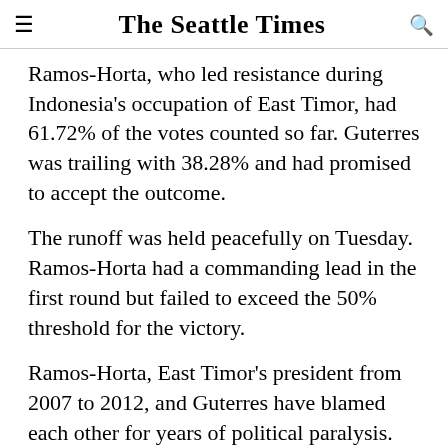The Seattle Times
Ramos-Horta, who led resistance during Indonesia's occupation of East Timor, had 61.72% of the votes counted so far. Guterres was trailing with 38.28% and had promised to accept the outcome.
The runoff was held peacefully on Tuesday. Ramos-Horta had a commanding lead in the first round but failed to exceed the 50% threshold for the victory.
Ramos-Horta, East Timor's president from 2007 to 2012, and Guterres have blamed each other for years of political paralysis. The two also squared off in a second round in 2007.
Ramos-Horta pledged to reduce poverty, improve health services for mothers and children and create more jobs if he is elected, and vowed to build